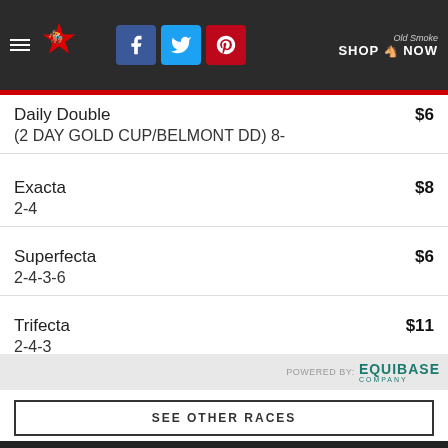Horse racing website header with logo, social icons (Facebook, Twitter, Pinterest), and Shop Now link
Daily Double
(2 DAY GOLD CUP/BELMONT DD) 8-
$6
Exacta
2-4
$8
Superfecta
2-4-3-6
$6
Trifecta
2-4-3
$11
POWERED BY: EQUIBASE COMPANY
SEE OTHER RACES